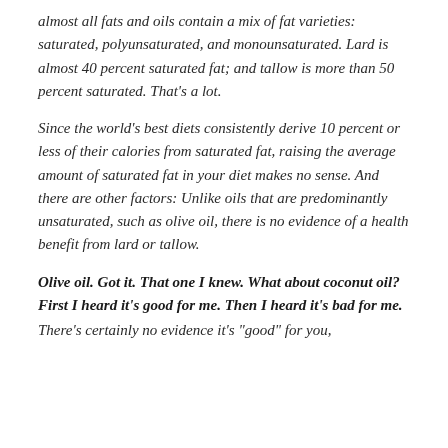almost all fats and oils contain a mix of fat varieties: saturated, polyunsaturated, and monounsaturated. Lard is almost 40 percent saturated fat; and tallow is more than 50 percent saturated. That's a lot.
Since the world's best diets consistently derive 10 percent or less of their calories from saturated fat, raising the average amount of saturated fat in your diet makes no sense. And there are other factors: Unlike oils that are predominantly unsaturated, such as olive oil, there is no evidence of a health benefit from lard or tallow.
Olive oil. Got it. That one I knew. What about coconut oil? First I heard it's good for me. Then I heard it's bad for me.
There's certainly no evidence it's "good" for you,